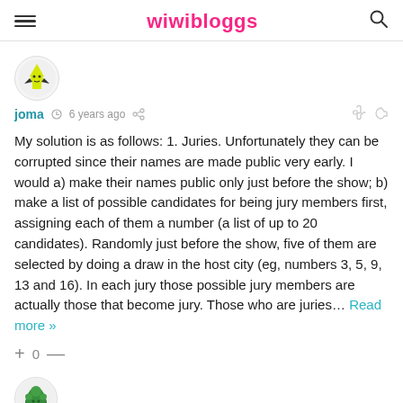wiwibloggs
[Figure (illustration): Round avatar icon showing a yellow cartoon character with a cape]
joma  6 years ago
My solution is as follows: 1. Juries. Unfortunately they can be corrupted since their names are made public very early. I would a) make their names public only just before the show; b) make a list of possible candidates for being jury members first, assigning each of them a number (a list of up to 20 candidates). Randomly just before the show, five of them are selected by doing a draw in the host city (eg, numbers 3, 5, 9, 13 and 16). In each jury those possible jury members are actually those that become jury. Those who are juries... Read more »
+ 0 —
[Figure (illustration): Round avatar icon showing a green tree/bush cartoon character]